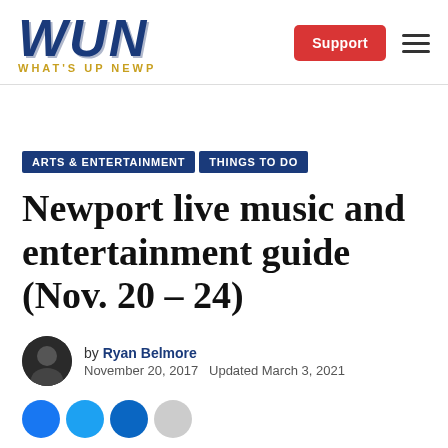WUN — WHAT'S UP NEWP
ARTS & ENTERTAINMENT   THINGS TO DO
Newport live music and entertainment guide (Nov. 20 – 24)
by Ryan Belmore
November 20, 2017   Updated March 3, 2021